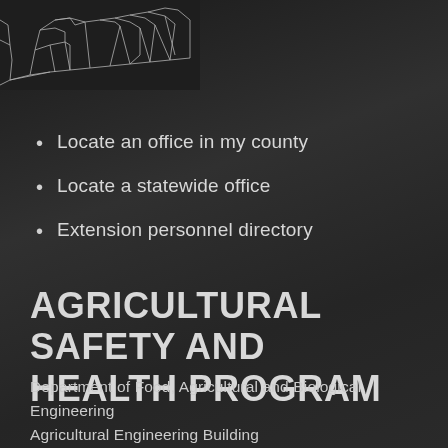[Figure (map): Partial view of Ohio county map with white county boundary lines on dark background, showing upper portion of state map cropped at top of page]
Locate an office in my county
Locate a statewide office
Extension personnel directory
AGRICULTURAL SAFETY AND HEALTH PROGRAM
Department of Food, Agricultural and Biological Engineering
Agricultural Engineering Building
590 Woody Hayes Dr.
Columbus, OH 43210-1057